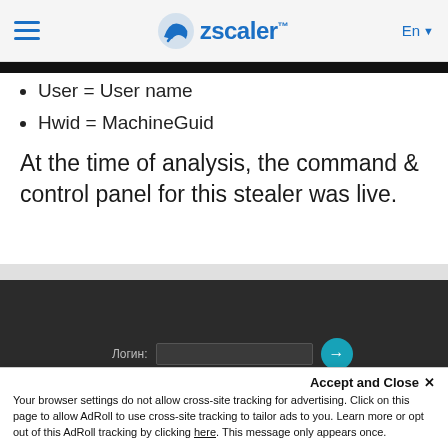Zscaler — En
User = User name
Hwid = MachineGuid
At the time of analysis, the command & control panel for this stealer was live.
[Figure (screenshot): Dark-themed command & control panel login screen with fields labeled Логин and Пароль (Russian for Login and Password), and a teal circular arrow button]
Accept and Close ✕
Your browser settings do not allow cross-site tracking for advertising. Click on this page to allow AdRoll to use cross-site tracking to tailor ads to you. Learn more or opt out of this AdRoll tracking by clicking here. This message only appears once.